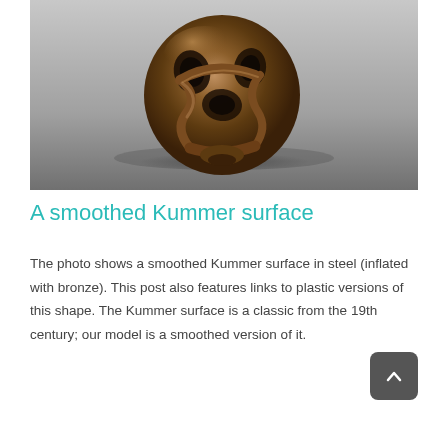[Figure (photo): Photograph of a smoothed Kummer surface sculpture made in steel inflated with bronze, showing a roughly spherical object with curved openings and ridges, placed on a gray reflective surface.]
A smoothed Kummer surface
The photo shows a smoothed Kummer surface in steel (inflated with bronze). This post also features links to plastic versions of this shape. The Kummer surface is a classic from the 19th century; our model is a smoothed version of it.